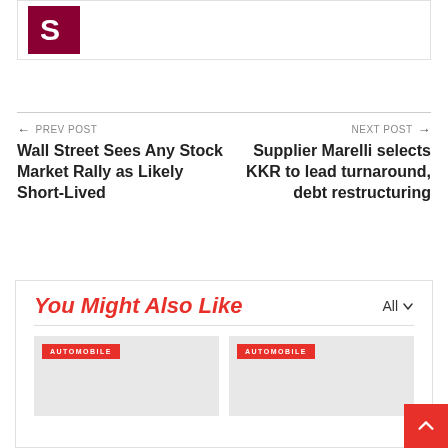[Figure (logo): Dark red/maroon square logo with a white letter S]
← PREV POST
Wall Street Sees Any Stock Market Rally as Likely Short-Lived
NEXT POST →
Supplier Marelli selects KKR to lead turnaround, debt restructuring
You Might Also Like
All ∨
[Figure (photo): Thumbnail image with AUTOMOBILE badge]
[Figure (photo): Thumbnail image with AUTOMOBILE badge]